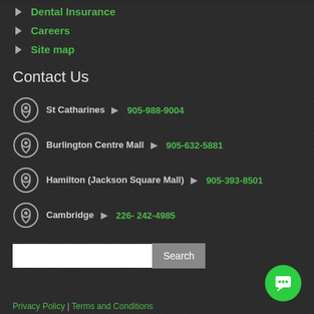Dental Insurance
Careers
Site map
Contact Us
St Catharines   905-988-9004
Burlington Centre Mall   905-632-5881
Hamilton (Jackson Square Mall)   905-393-8501
Cambridge   226- 242-4985
Privacy Policy | Terms and Conditions